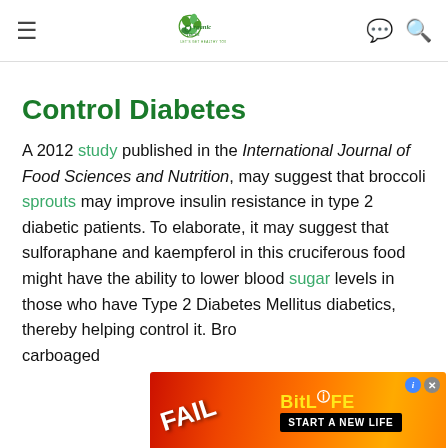Organic Facts — LET'S GET HEALTHY TOGETHER
Control Diabetes
A 2012 study published in the International Journal of Food Sciences and Nutrition, may suggest that broccoli sprouts may improve insulin resistance in type 2 diabetic patients. To elaborate, it may suggest that sulforaphane and kaempferol in this cruciferous food might have the ability to lower blood sugar levels in those who have Type 2 Diabetes Mellitus diabetics, thereby helping control it. Bro... carbo... aged
[Figure (screenshot): BitLife advertisement banner with orange/fire background, FAIL text, cartoon character, BitLife logo in yellow, and 'START A NEW LIFE' call to action button]